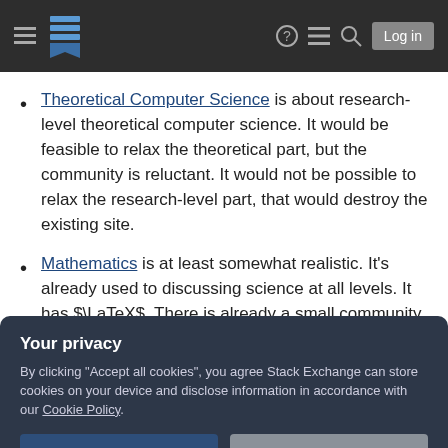Stack Exchange navigation bar with hamburger menu, logo, help, menu, search, and Log in button
Theoretical Computer Science is about research-level theoretical computer science. It would be feasible to relax the theoretical part, but the community is reluctant. It would not be possible to relax the research-level part, that would destroy the existing site.
Mathematics is at least somewhat realistic. It's already used to discussing science at all levels. It has $\LaTeX$. There is already a small community on some topics that bridge
Your privacy
By clicking "Accept all cookies", you agree Stack Exchange can store cookies on your device and disclose information in accordance with our Cookie Policy.
Accept all cookies   Customize settings
computer science (that's not backed by